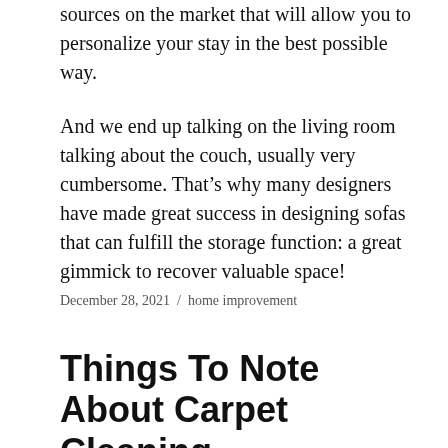sources on the market that will allow you to personalize your stay in the best possible way.
And we end up talking on the living room talking about the couch, usually very cumbersome. That’s why many designers have made great success in designing sofas that can fulfill the storage function: a great gimmick to recover valuable space!
December 28, 2021 / home improvement
Things To Note About Carpet Cleaning